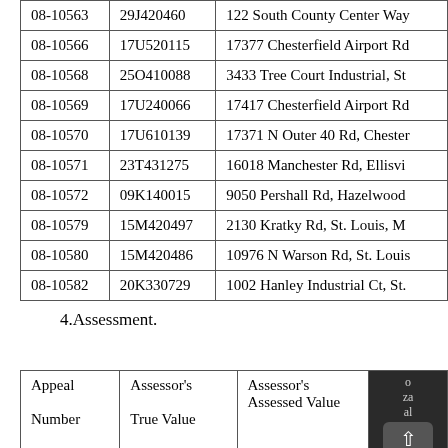| 08-10563 | 29J420460 | 122 South County Center Way |
| 08-10566 | 17U520115 | 17377 Chesterfield Airport Rd |
| 08-10568 | 25O410088 | 3433 Tree Court Industrial, St |
| 08-10569 | 17U240066 | 17417 Chesterfield Airport Rd |
| 08-10570 | 17U610139 | 17371 N Outer 40 Rd, Chester |
| 08-10571 | 23T431275 | 16018 Manchester Rd, Ellisvi |
| 08-10572 | 09K140015 | 9050 Pershall Rd, Hazelwood |
| 08-10579 | 15M420497 | 2130 Kratky Rd, St. Louis, M |
| 08-10580 | 15M420486 | 10976 N Warson Rd, St. Louis |
| 08-10582 | 20K330729 | 1002 Hanley Industrial Ct, St. |
4.Assessment.
| Appeal
Number | Assessor's
True Value | Assessor's
Assessed Value |  |
| --- | --- | --- | --- |